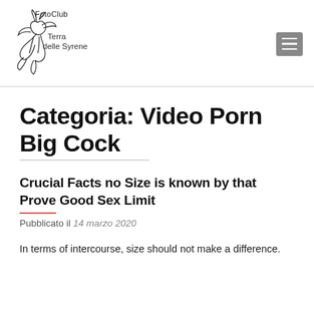[Figure (logo): FotoClub Terra delle Syrene logo with a stylized siren/fish figure and text]
Categoria: Video Porn Big Cock
Crucial Facts no Size is known by that Prove Good Sex Limit
Pubblicato il 14 marzo 2020
In terms of intercourse, size should not make a difference.